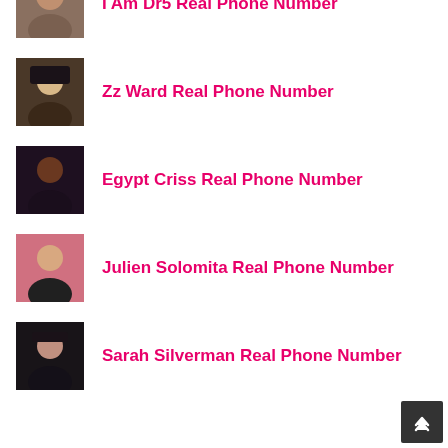I Am Dfs Real Phone Number
Zz Ward Real Phone Number
Egypt Criss Real Phone Number
Julien Solomita Real Phone Number
Sarah Silverman Real Phone Number